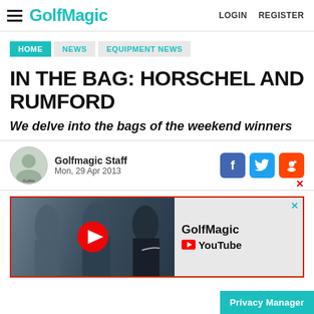GolfMagic | LOGIN | REGISTER
HOME
NEWS
EQUIPMENT NEWS
IN THE BAG: HORSCHEL AND RUMFORD
We delve into the bags of the weekend winners
Golfmagic Staff
Mon, 29 Apr 2013
[Figure (screenshot): GolfMagic YouTube advertisement banner showing golfers and YouTube logo with GolfMagic branding]
Privacy Manager